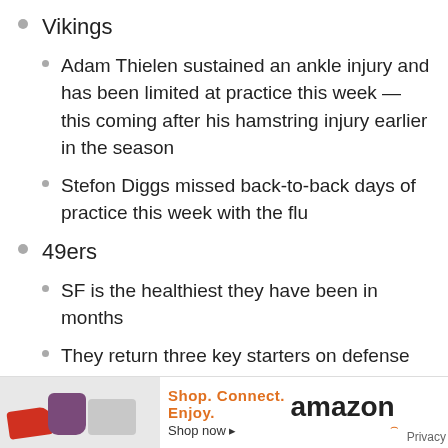Vikings
Adam Thielen sustained an ankle injury and has been limited at practice this week — this coming after his hamstring injury earlier in the season
Stefon Diggs missed back-to-back days of practice this week with the flu
49ers
SF is the healthiest they have been in months
They return three key starters on defense — Kwon Alexander, Dee Ford, and Jaquiski Tartt
[Figure (infographic): Amazon advertisement banner at the bottom of the page showing products (shoe, bag, gaming console), text 'Shop. Connect. Enjoy. Shop now' and the Amazon logo]